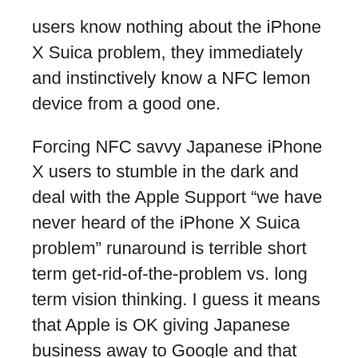users know nothing about the iPhone X Suica problem, they immediately and instinctively know a NFC lemon device from a good one.
Forcing NFC savvy Japanese iPhone X users to stumble in the dark and deal with the Apple Support “we have never heard of the iPhone X Suica problem” runaround is terrible short term get-rid-of-the-problem vs. long term vision thinking. I guess it means that Apple is OK giving Japanese business away to Google and that giving away some business is less expensive than fixing a problem. Anyway you look at it I think the current approach is a mistake but especially so in the Japanese market.